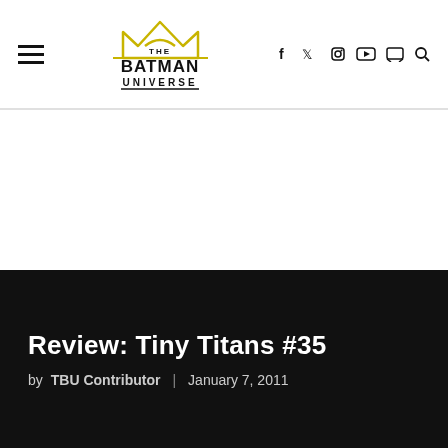The Batman Universe — navigation header with hamburger menu, logo, social icons (f, twitter, instagram, youtube, discord, search)
Review: Tiny Titans #35
by TBU Contributor | January 7, 2011